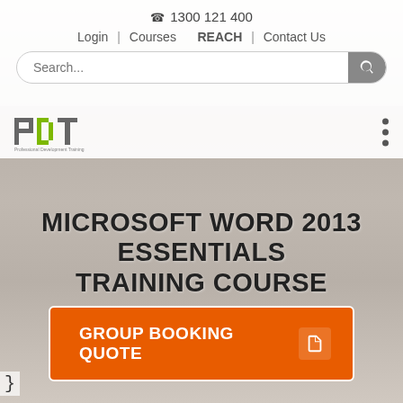☎ 1300 121 400
Login | Courses   REACH | Contact Us
[Figure (screenshot): Search bar with placeholder text 'Search...' and a search button on the right]
[Figure (logo): PDT - Professional Development Training logo with green and grey letters]
MICROSOFT WORD 2013 ESSENTIALS TRAINING COURSE
GROUP BOOKING QUOTE
}